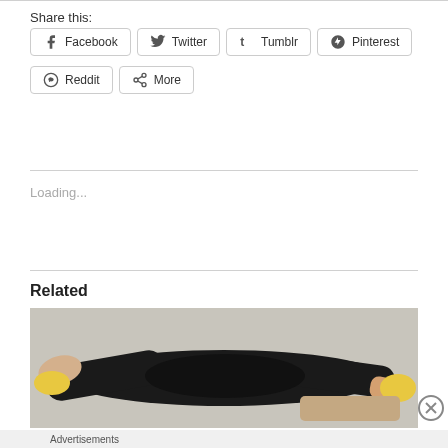Share this:
Facebook  Twitter  Tumblr  Pinterest  Reddit  More
Loading...
Related
[Figure (photo): Person in black outfit lying across furniture]
Advertisements